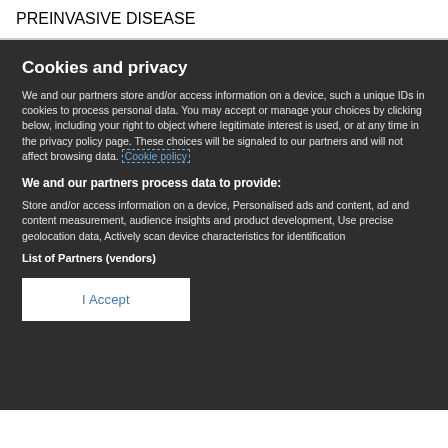PREINVASIVE DISEASE
Cookies and privacy
We and our partners store and/or access information on a device, such a unique IDs in cookies to process personal data. You may accept or manage your choices by clicking below, including your right to object where legitimate interest is used, or at any time in the privacy policy page. These choices will be signaled to our partners and will not affect browsing data. Cookie policy
We and our partners process data to provide:
Store and/or access information on a device, Personalised ads and content, ad and content measurement, audience insights and product development, Use precise geolocation data, Actively scan device characteristics for identification
List of Partners (vendors)
I Accept